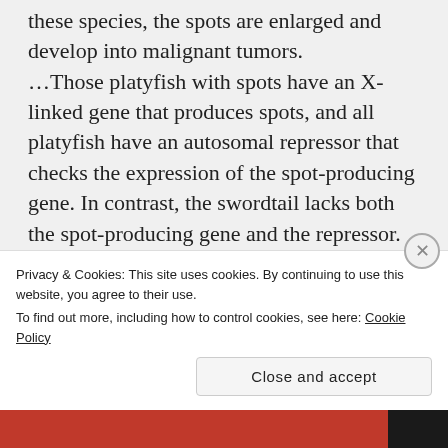these species, the spots are enlarged and develop into malignant tumors. ...Those platyfish with spots have an X-linked gene that produces spots, and all platyfish have an autosomal repressor that checks the expression of the spot-producing gene. In contrast, the swordtail lacks both the spot-producing gene and the repressor. In backcrosses, some of the hybrids receive the
Privacy & Cookies: This site uses cookies. By continuing to use this website, you agree to their use.
To find out more, including how to control cookies, see here: Cookie Policy
Close and accept